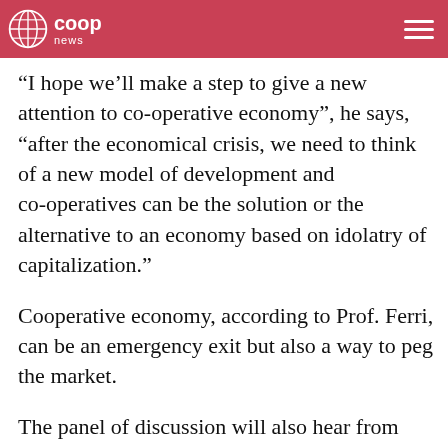coop news
“I hope we’ll make a step to give a new attention to co-operative economy”, he says, “after the economical crisis, we need to think of a new model of development and co-operatives can be the solution or the alternative to an economy based on idolatry of capitalization.”
Cooperative economy, according to Prof. Ferri, can be an emergency exit but also a way to peg the market.
The panel of discussion will also hear from policy decision makers. “We have to change the mind-frame”, emphasized Prof. Ferri, “and give up the idea that co-operatives are a form of anti-economy;